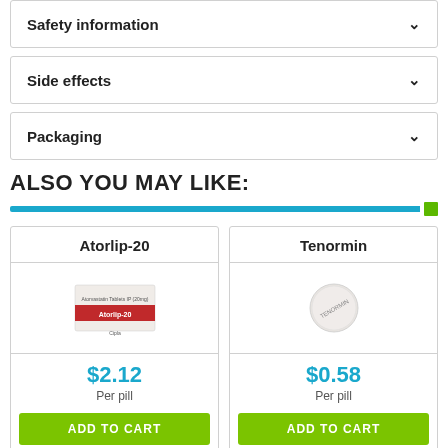Safety information
Side effects
Packaging
ALSO YOU MAY LIKE:
[Figure (other): Blue horizontal bar with small green square at right end]
| Atorlip-20 | Tenormin |
| --- | --- |
| [pill box image] | [pill image] |
| $2.12 | $0.58 |
| Per pill | Per pill |
| ADD TO CART | ADD TO CART |